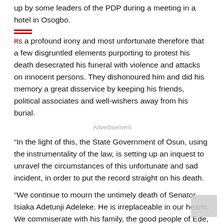up by some leaders of the PDP during a meeting in a hotel in Osogbo.
It is a profound irony and most unfortunate therefore that a few disgruntled elements purporting to protest his death desecrated his funeral with violence and attacks on innocent persons. They dishonoured him and did his memory a great disservice by keeping his friends, political associates and well-wishers away from his burial.
Advertisement
“In the light of this, the State Government of Osun, using the instrumentality of the law, is setting up an inquest to unravel the circumstances of this unfortunate and sad incident, in order to put the record straight on his death.
“We continue to mourn the untimely death of Senator Isiaka Adetunji Adeleke. He is irreplaceable in our hearts. We commiserate with his family, the good people of Ede, associates, friends, constituents and generality of our peopleon the passage of this patriot. As we pray for the repose of his soul, we equally pray for the strength to bear this heavy loss.”